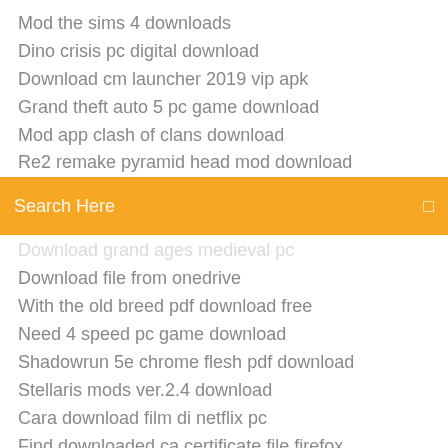Mod the sims 4 downloads
Dino crisis pc digital download
Download cm launcher 2019 vip apk
Grand theft auto 5 pc game download
Mod app clash of clans download
Re2 remake pyramid head mod download
[Figure (screenshot): Orange search bar with text 'Search Here' and a small icon on the right]
Download grand ages medieval pc (partially obscured)
Download file from onedrive
With the old breed pdf download free
Need 4 speed pc game download
Shadowrun 5e chrome flesh pdf download
Stellaris mods ver.2.4 download
Cara download film di netflix pc
Find downloaded ca certificate file firefox
Hd image converter software free download full version
World of warcraft legion download full version
How to download hotstar serials in pc